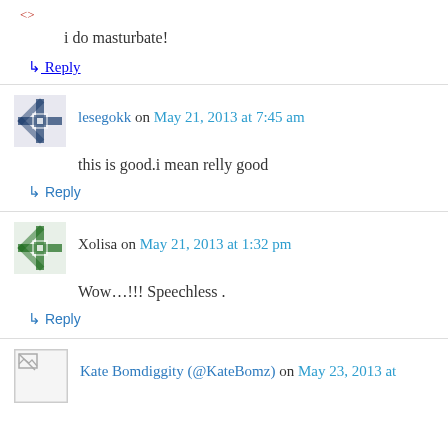i do masturbate!
↳ Reply
lesegokk on May 21, 2013 at 7:45 am
this is good.i mean relly good
↳ Reply
Xolisa on May 21, 2013 at 1:32 pm
Wow…!!! Speechless .
↳ Reply
Kate Bomdiggity (@KateBomz) on May 23, 2013 at